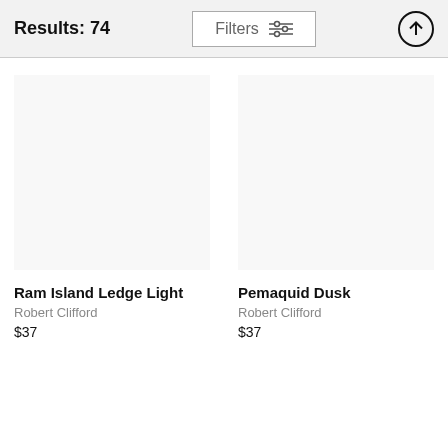Results: 74
Filters
Ram Island Ledge Light
Robert Clifford
$37
Pemaquid Dusk
Robert Clifford
$37